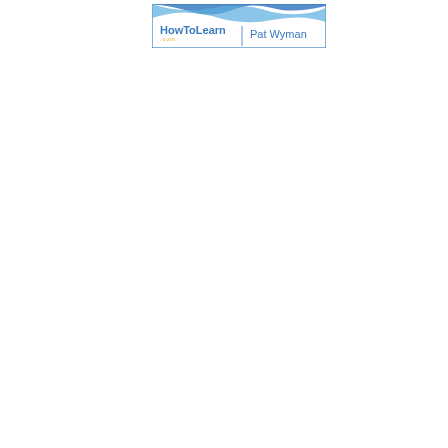[Figure (logo): HowToLearn.com logo with blue wave graphic and text 'Pat Wyman' on the right side]